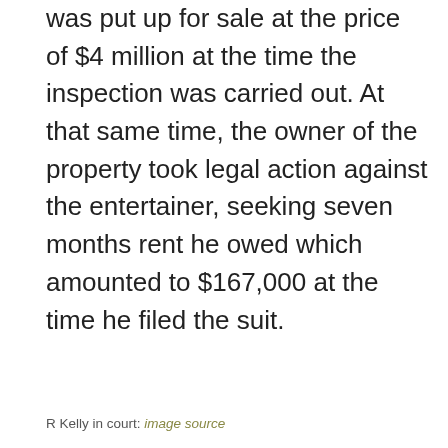was put up for sale at the price of $4 million at the time the inspection was carried out. At that same time, the owner of the property took legal action against the entertainer, seeking seven months rent he owed which amounted to $167,000 at the time he filed the suit.
R Kelly in court: image source